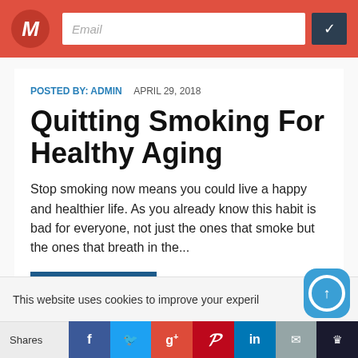Email [input field] [submit button]
POSTED BY: ADMIN   APRIL 29, 2018
Quitting Smoking For Healthy Aging
Stop smoking now means you could live a happy and healthier life. As you already know this habit is bad for everyone, not just the ones that smoke but the ones that breath in the...
READ MORE
This website uses cookies to improve your experi...l
Shares  [Facebook] [Twitter] [Google+] [Pinterest] [LinkedIn] [Email] [Other]